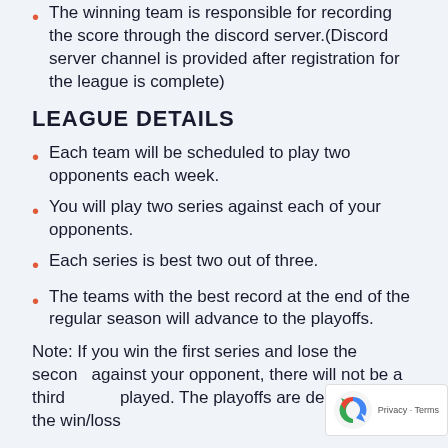The winning team is responsible for recording the score through the discord server.(Discord server channel is provided after registration for the league is complete)
LEAGUE DETAILS
Each team will be scheduled to play two opponents each week.
You will play two series against each of your opponents.
Each series is best two out of three.
The teams with the best record at the end of the regular season will advance to the playoffs.
Note: If you win the first series and lose the second against your opponent, there will not be a third played. The playoffs are decided from the win/loss